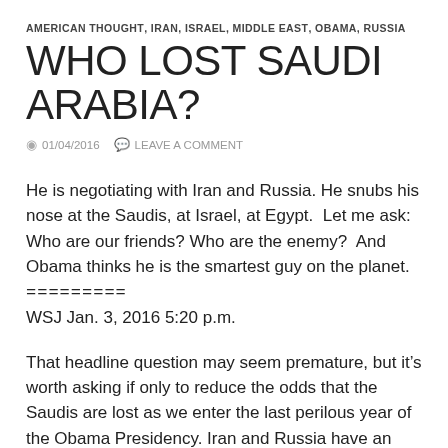AMERICAN THOUGHT, IRAN, ISRAEL, MIDDLE EAST, OBAMA, RUSSIA
WHO LOST SAUDI ARABIA?
01/04/2016   LEAVE A COMMENT
He is negotiating with Iran and Russia. He snubs his nose at the Saudis, at Israel, at Egypt.  Let me ask: Who are our friends?  Who are the enemy?  And Obama thinks he is the smartest guy on the planet.
=========
WSJ Jan. 3, 2016 5:20 p.m.
That headline question may seem premature, but it's worth asking if only to reduce the odds that the Saudis are lost as we enter the last perilous year of the Obama Presidency. Iran and Russia have an interest in toppling the House of Saud, and the…